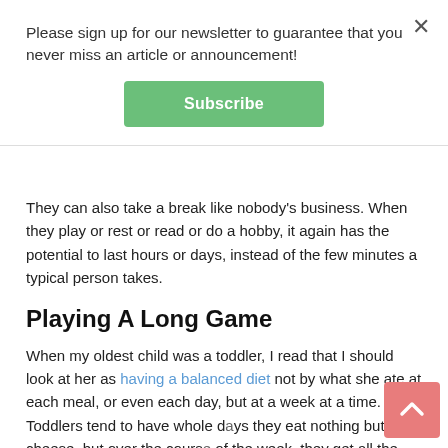Please sign up for our newsletter to guarantee that you never miss an article or announcement!
Subscribe
They can also take a break like nobody's business. When they play or rest or read or do a hobby, it again has the potential to last hours or days, instead of the few minutes a typical person takes.
Playing A Long Game
When my oldest child was a toddler, I read that I should look at her as having a balanced diet not by what she ate at each meal, or even each day, but at a week at a time. Toddlers tend to have whole days they eat nothing but cheese, but over the course of the week, they get all the different foods of a varied